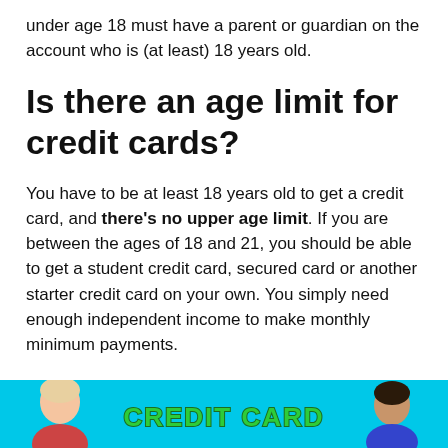under age 18 must have a parent or guardian on the account who is (at least) 18 years old.
Is there an age limit for credit cards?
You have to be at least 18 years old to get a credit card, and there's no upper age limit. If you are between the ages of 18 and 21, you should be able to get a student credit card, secured card or another starter credit card on your own. You simply need enough independent income to make monthly minimum payments.
[Figure (illustration): A cyan/turquoise banner showing two people (a person with light hair on the left and a person with dark hair on the right) with a green stylized text reading 'CREDIT CARD' in the center.]